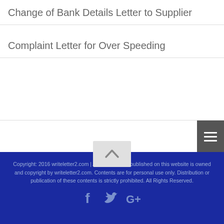Change of Bank Details Letter to Supplier
Complaint Letter for Over Speeding
[Figure (other): Hamburger menu icon (three horizontal lines) in a dark grey box on the right side of a navigation bar]
[Figure (other): Scroll-to-top button with an upward chevron arrow on a light grey background]
Copyright: 2016 writeletter2.com | All the contents published on this website is owned and copyright by writeletter2.com. Contents are for personal use only. Distribution or publication of these contents is strictly prohibited. All Rights Reserved.
[Figure (other): Social media icons: Facebook, Twitter, Google+ in blue tones on dark blue background]